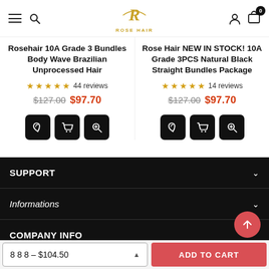Rose Hair — navigation header with hamburger, search, logo, account, cart (0)
Rosehair 10A Grade 3 Bundles Body Wave Brazilian Unprocessed Hair
★★★★★ 44 reviews
$127.00 $97.70
Rose Hair NEW IN STOCK! 10A Grade 3PCS Natural Black Straight Bundles Package
★★★★★ 14 reviews
$127.00 $97.70
SUPPORT
Informations
COMPANY INFO
8 8 8 – $104.50
ADD TO CART